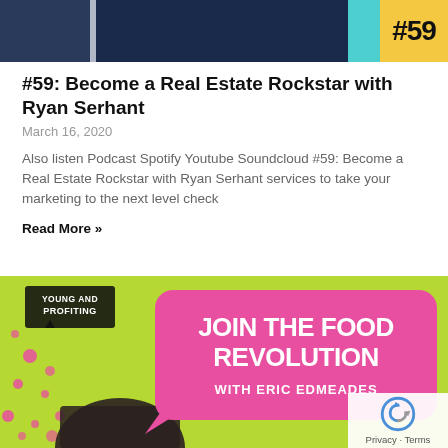[Figure (photo): Top banner image showing two people in suits with episode number badge #59 on yellow background with cyan accent bar]
#59: Become a Real Estate Rockstar with Ryan Serhant
March 16, 2020
Also listen Podcast Spotify Youtube Soundcloud #59: Become a Real Estate Rockstar with Ryan Serhant services to take your marketing to the next level check
Read More »
[Figure (photo): Podcast promotional banner with lime green background, pink speech bubble saying JOIN THE FOOD REVOLUTION WITH ERIC EDMEADES, Young and Profiting logo, pink polka dots, and person's head visible at bottom]